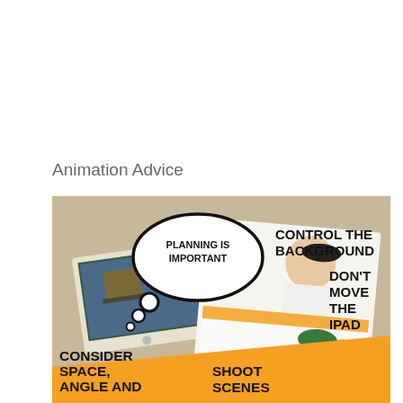Animation Advice
[Figure (infographic): Animation advice infographic with photos of children using iPads for stop-motion animation. Text overlays include: 'PLANNING IS IMPORTANT' (in thought bubble), 'CONTROL THE BACKGROUND', 'DON'T MOVE THE IPAD', 'CONSIDER SPACE, ANGLE AND POINT OF...', 'SHOOT SCENES'. Photos show a child working with an iPad and natural materials on a white surface.]